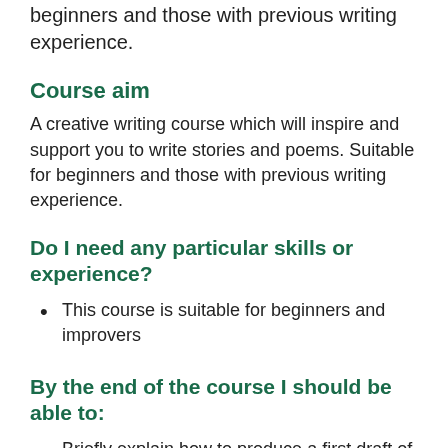beginners and those with previous writing experience.
Course aim
A creative writing course which will inspire and support you to write stories and poems. Suitable for beginners and those with previous writing experience.
Do I need any particular skills or experience?
This course is suitable for beginners and improvers
By the end of the course I should be able to:
Briefly explain how to produce a first draft of